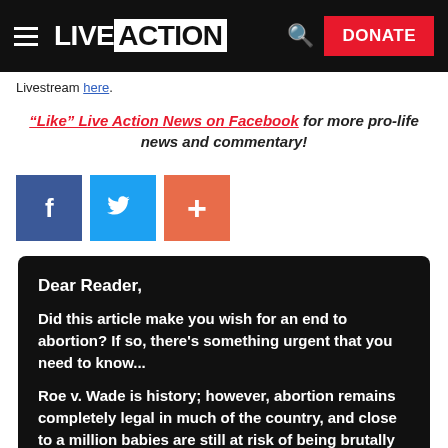LIVE ACTION  [search] DONATE
Livestream here.
"Like" Live Action News on Facebook for more pro-life news and commentary!
[Figure (other): Social share buttons: Facebook (blue), Twitter (light blue), Plus/share (orange-red)]
Dear Reader,

Did this article make you wish for an end to abortion? If so, there's something urgent that you need to know...

Roe v. Wade is history; however, abortion remains completely legal in much of the country, and close to a million babies are still at risk of being brutally killed for profit this year.